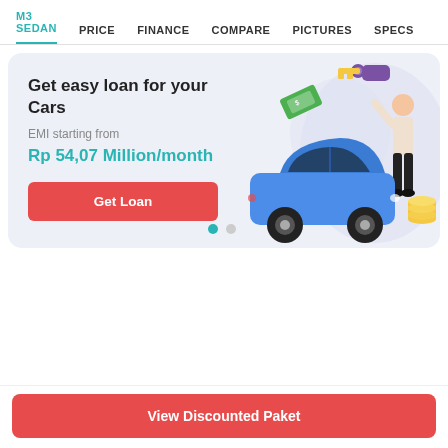M3 SEDAN  PRICE  FINANCE  COMPARE  PICTURES  SPECS  COLO
Get easy loan for your Cars
EMI starting from
Rp 54,07 Million/month
Get Loan
[Figure (illustration): Illustration of a blue SUV car with a person holding car keys and coins, with banknotes flying, on a light purple background]
View Discounted Paket